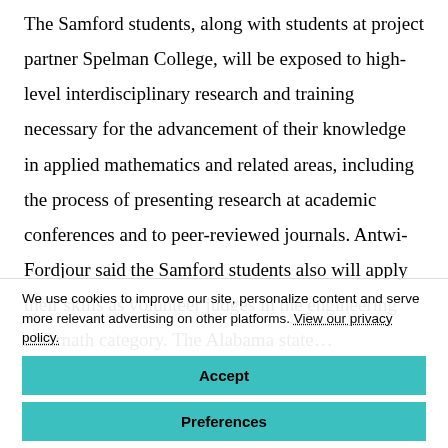The Samford students, along with students at project partner Spelman College, will be exposed to high-level interdisciplinary research and training necessary for the advancement of their knowledge in applied mathematics and related areas, including the process of presenting research at academic conferences and to peer-reviewed journals. Antwi-Fordjour said the Samford students also will apply their skills as volunteer judges in the engineering and math category. The Alabama State…
We use cookies to improve our site, personalize content and serve more relevant advertising on other platforms. View our privacy policy.
Accept
Preferences